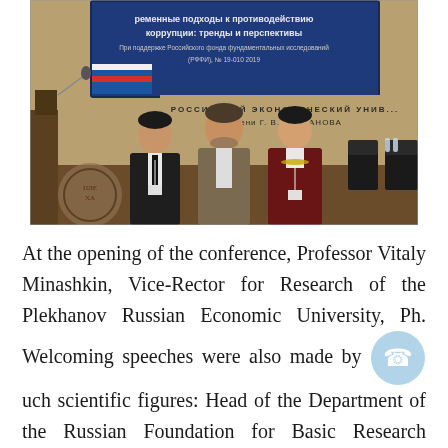[Figure (photo): Conference photo showing three men standing in front of a large screen displaying a Russian-language conference title about anti-corruption approaches. The background shows a banner for Plekhanov Russian Economic University (Российский Экономический Университет имени Г. В. Плеханова). A podium with microphone is visible on the left, and chairs are arranged on the right side of the stage.]
At the opening of the conference, Professor Vitaly Minashkin, Vice-Rector for Research of the Plekhanov Russian Economic University, Ph. Welcoming speeches were also made by such scientific figures: Head of the Department of the Russian Foundation for Basic Research (RFBR)